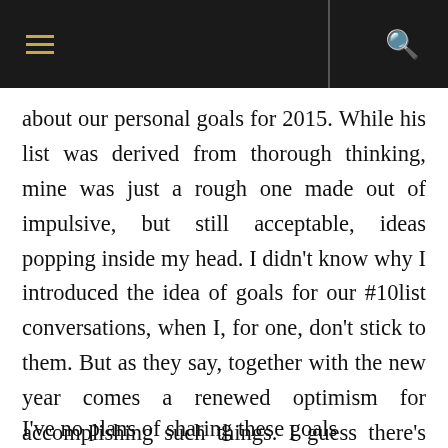≡  |  🔍
about our personal goals for 2015. While his list was derived from thorough thinking, mine was just a rough one made out of impulsive, but still acceptable, ideas popping inside my head. I didn't know why I introduced the idea of goals for our #10list conversations, when I, for one, don't stick to them. But as they say, together with the new year comes a renewed optimism for accomplishing such things. I guess there's no harm in trying this time.
I've no plans of sharing these goals